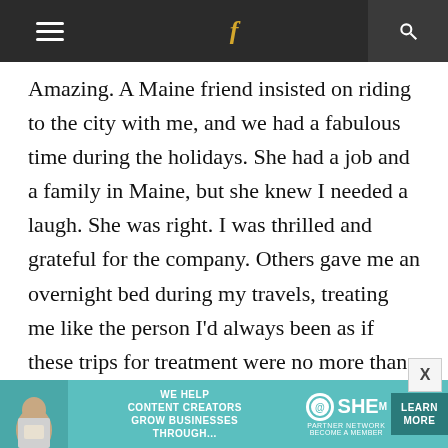Navigation bar with hamburger menu, facebook icon, and search icon
Amazing. A Maine friend insisted on riding to the city with me, and we had a fabulous time during the holidays. She had a job and a family in Maine, but she knew I needed a laugh. She was right. I was thrilled and grateful for the company. Others gave me an overnight bed during my travels, treating me like the person I'd always been as if these trips for treatment were no more than vacations. A few caring friends overshadowed the thoughtless ones. Please know that if you're going to share, share with sincerity,
[Figure (infographic): Advertisement banner: SHE Media Partner Network - We help content creators grow businesses through... Learn More]